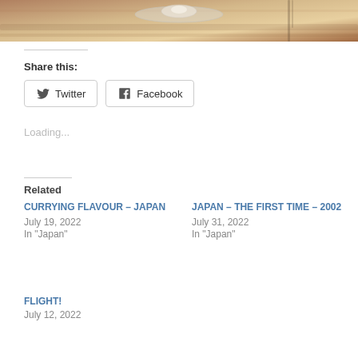[Figure (photo): Top portion of a food/drink photo showing a glass dish on a wooden table surface]
Share this:
Twitter
Facebook
Loading...
Related
CURRYING FLAVOUR – JAPAN
July 19, 2022
In "Japan"
JAPAN – THE FIRST TIME – 2002
July 31, 2022
In "Japan"
FLIGHT!
July 12, 2022